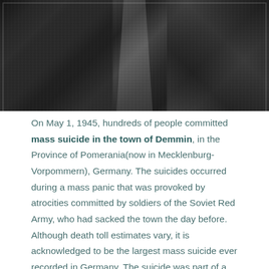[Figure (photo): Black and white aerial photograph showing a destroyed town with rubble and ruins of buildings on either side of a road, war damage scene.]
On May 1, 1945, hundreds of people committed mass suicide in the town of Demmin, in the Province of Pomerania(now in Mecklenburg-Vorpommern), Germany. The suicides occurred during a mass panic that was provoked by atrocities committed by soldiers of the Soviet Red Army, who had sacked the town the day before. Although death toll estimates vary, it is acknowledged to be the largest mass suicide ever recorded in Germany. The suicide was part of a mass suicide wave among the population of Nazi Germany.
Nazi officials, the police, the Wehrmacht and a number of citizens had left the town before the arrival of the Red